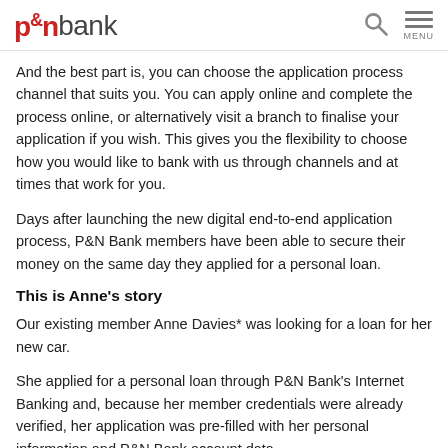P&N bank — search and menu
And the best part is, you can choose the application process channel that suits you. You can apply online and complete the process online, or alternatively visit a branch to finalise your application if you wish. This gives you the flexibility to choose how you would like to bank with us through channels and at times that work for you.
Days after launching the new digital end-to-end application process, P&N Bank members have been able to secure their money on the same day they applied for a personal loan.
This is Anne's story
Our existing member Anne Davies* was looking for a loan for her new car.
She applied for a personal loan through P&N Bank's Internet Banking and, because her member credentials were already verified, her application was pre-filled with her personal information and P&N Bank account data.